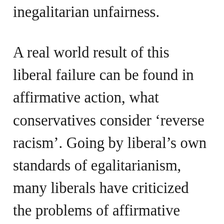inegalitarian unfairness.
A real world result of this liberal failure can be found in affirmative action, what conservatives consider ‘reverse racism’. Going by liberal’s own standards of egalitarianism, many liberals have criticized the problems of affirmative action. What liberals criticize isn’t so much the intent as the result. If affirmative action achieved what it set out to achieve, then there would be no problem for liberals. Conservatives criticize it, instead, for its intent; but disagreeing with the intent doesn’t necessarily have anything to do with